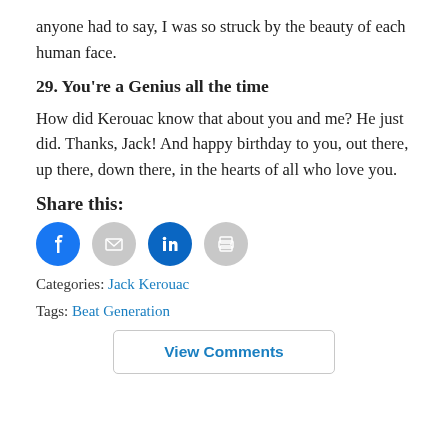anyone had to say, I was so struck by the beauty of each human face.
29. You're a Genius all the time
How did Kerouac know that about you and me? He just did. Thanks, Jack! And happy birthday to you, out there, up there, down there, in the hearts of all who love you.
Share this:
[Figure (infographic): Four social share icon circles: Facebook (blue), Email (gray), LinkedIn (blue), Print (gray)]
Categories: Jack Kerouac
Tags: Beat Generation
View Comments